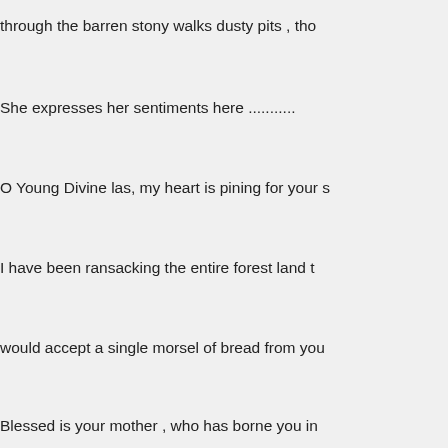through the barren  stony walks  dusty  pits , tho
She expresses her sentiments here ...........
O Young Divine las, my heart is pining for your s
I have been ransacking  the entire forest  land t
would accept a single morsel of  bread from you
Blessed is your mother  , who has borne  you in
mother. Allow me to feed you , with this loaf of b
My mind is choked with feelings , when i see yo
overflow and my bosom aches with the pangs o
Even though  you are still very  young  I see the
lght  has arised up from the base of this margos
You are an image of firm  determination  and res
dampenend with delicate  mellifluous sentiment
Even when you close  the lids of  your eyes , th